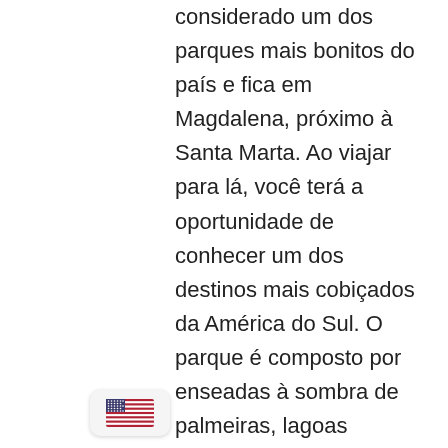considerado um dos parques mais bonitos do país e fica em Magdalena, próximo à Santa Marta. Ao viajar para lá, você terá a oportunidade de conhecer um dos destinos mais cobiçados da América do Sul. O parque é composto por enseadas à sombra de palmeiras, lagoas costeiras, floresta tropical e uma rica biodiversidade.

Entre tudo que se pode fazer no Parque Nacional Natural Tayrona, você poderá praticar snorkeling, subir o mirador de Cabo San Juan e visitar Pueblito, um sítio arqueológico de uma antiga cidade habitada pelo povo
[Figure (illustration): US flag emoji/badge in a rounded rectangle at the bottom left area]